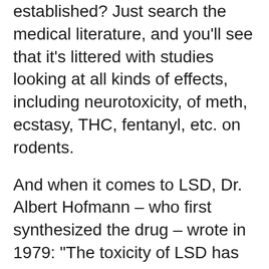established? Just search the medical literature, and you'll see that it's littered with studies looking at all kinds of effects, including neurotoxicity, of meth, ecstasy, THC, fentanyl, etc. on rodents.
And when it comes to LSD, Dr. Albert Hofmann – who first synthesized the drug – wrote in 1979: “The toxicity of LSD has been determined in various animal species.” He mentions “several hundred pharmacological investigations” involving LSD and animals, then discusses some experiments on rats and mice. Again, he wrote these words almost 40 years ago. (In his book, LSD: My Problem Child.)
Do we really need more animals to suffer to